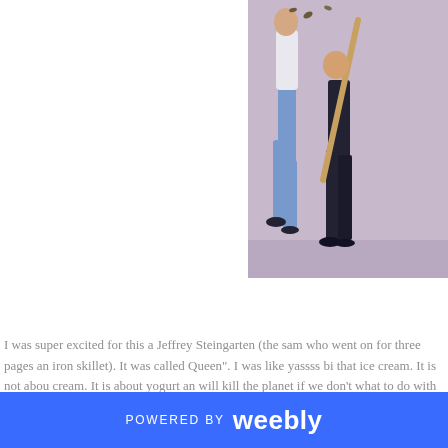[Figure (photo): Photo of two people dancing on a lavender/purple background. One figure appears to be in a white outfit with blue pants mid-kick, and the other is in a dark suit, partially visible on the right edge.]
I was super excited for this a Jeffrey Steingarten (the sam who went on for three pages an iron skillet). It was called Queen". I was like yassss bi that ice cream. It is not abou cream. It is about yogurt an will kill the planet if we don't what to do with the leftover h that results from making yo was great. As a response to argument that you might wa less yogurt, I give you a rec
POWERED BY weebly